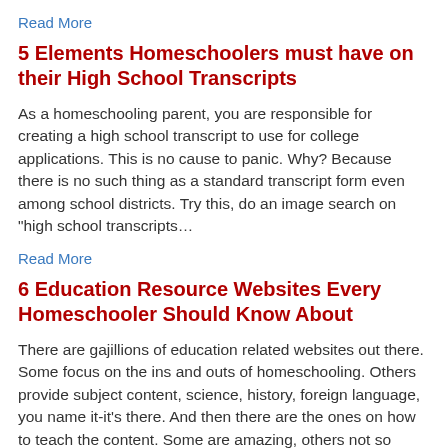Read More
5 Elements Homeschoolers must have on their High School Transcripts
As a homeschooling parent, you are responsible for creating a high school transcript to use for college applications. This is no cause to panic. Why? Because there is no such thing as a standard transcript form even among school districts. Try this, do an image search on "high school transcripts…
Read More
6 Education Resource Websites Every Homeschooler Should Know About
There are gajillions of education related websites out there. Some focus on the ins and outs of homeschooling. Others provide subject content, science, history, foreign language, you name it-it's there. And then there are the ones on how to teach the content. Some are amazing, others not so much. Some…